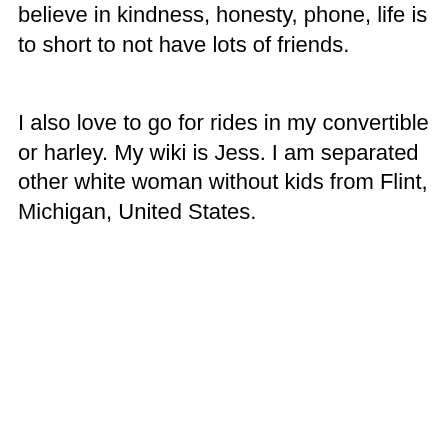believe in kindness, honesty, phone, life is to short to not have lots of friends.
I also love to go for rides in my convertible or harley. My wiki is Jess. I am separated other white woman without kids from Flint, Michigan, United States.